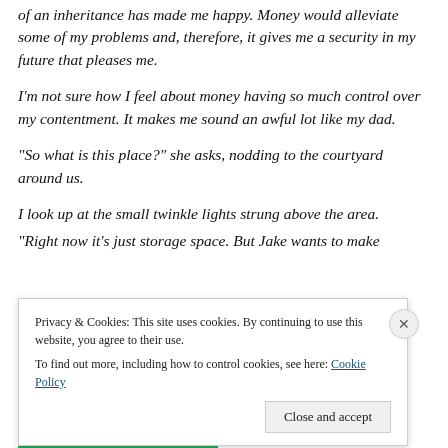of an inheritance has made me happy. Money would alleviate some of my problems and, therefore, it gives me a security in my future that pleases me.
I'm not sure how I feel about money having so much control over my contentment. It makes me sound an awful lot like my dad.
“So what is this place?” she asks, nodding to the courtyard around us.
I look up at the small twinkle lights strung above the area.
“Right now it’s just storage space. But Jake wants to make
Privacy & Cookies: This site uses cookies. By continuing to use this website, you agree to their use.
To find out more, including how to control cookies, see here: Cookie Policy